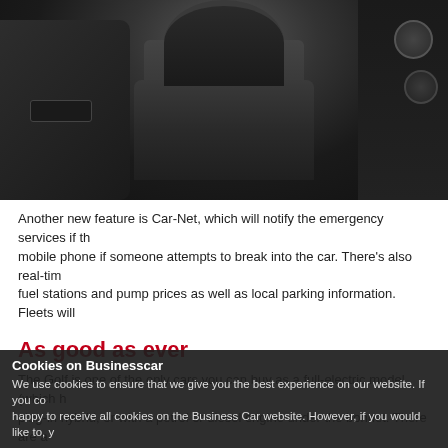[Figure (photo): Car interior showing steering wheel, driver seat, door panel on the left, and center console on the right. Dark leather upholstery throughout.]
Another new feature is Car-Net, which will notify the emergency services if th... mobile phone if someone attempts to break into the car. There's also real-tim... fuel stations and pump prices as well as local parking information. Fleets will...
As good as ever
The Golf is one of the only cars you can buy as a full-electric model (which h... plug-in hybrid, or with a petrol or diesel engine under the bonnet. There are a... well as a 150hp 1.5-litre petrol and there are 150hp 2.0-litre diesel...
Cookies on Businesscar
We use cookies to ensure that we give you the best experience on our website. If you co... happy to receive all cookies on the Business Car website. However, if you would like to, y...